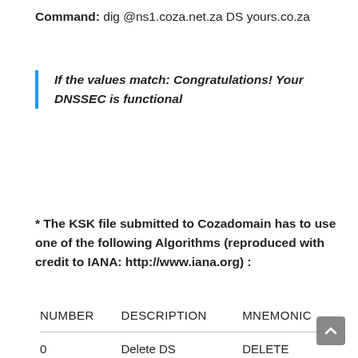Command: dig @ns1.coza.net.za DS yours.co.za
If the values match: Congratulations! Your DNSSEC is functional
* The KSK file submitted to Cozadomain has to use one of the following Algorithms (reproduced with credit to IANA: http://www.iana.org) :
| NUMBER | DESCRIPTION | MNEMONIC |
| --- | --- | --- |
| 0 | Delete DS | DELETE |